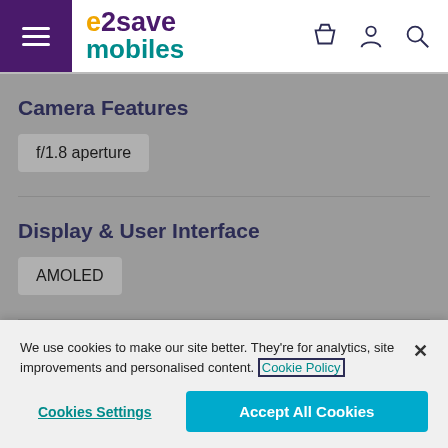e2save mobiles
Camera Features
f/1.8 aperture
Display & User Interface
AMOLED
Connectivity
We use cookies to make our site better. They're for analytics, site improvements and personalised content. Cookie Policy
Cookies Settings | Accept All Cookies